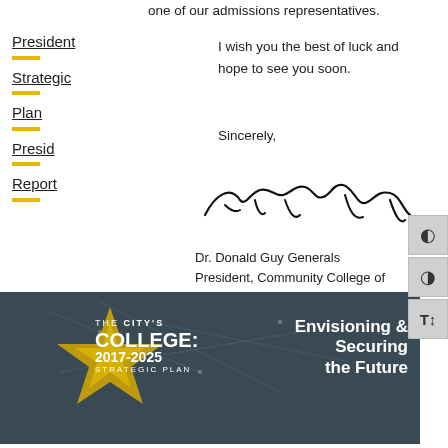one of our admissions representatives.
President
Strategic
Plan
Presid
Report
I wish you the best of luck and hope to see you soon.
Sincerely,
[Figure (illustration): Handwritten signature of Dr. Donald Guy Generals]
Dr. Donald Guy Generals
President, Community College of Philadelphia
[Figure (photo): Banner image showing THE CITY'S COLLEGE: 2017-2025 STRATEGIC PLAN with text 'Envisioning & Securing the Future' over a dark cityscape background with gold star graphic]
[Figure (logo): Twitter bird icon in blue]
Philadelphia